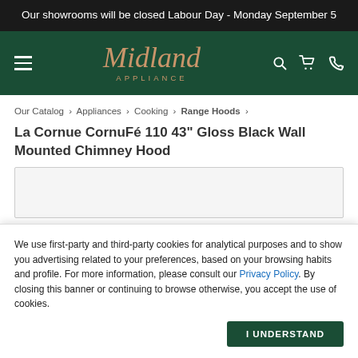Our showrooms will be closed Labour Day - Monday September 5
[Figure (logo): Midland Appliance logo with hamburger menu icon and navigation icons (search, cart, phone) on dark green background]
Our Catalog › Appliances › Cooking › Range Hoods ›
La Cornue CornuFé 110 43" Gloss Black Wall Mounted Chimney Hood
[Figure (photo): Product image area showing partial view of the chimney hood]
We use first-party and third-party cookies for analytical purposes and to show you advertising related to your preferences, based on your browsing habits and profile. For more information, please consult our Privacy Policy. By closing this banner or continuing to browse otherwise, you accept the use of cookies.
I UNDERSTAND